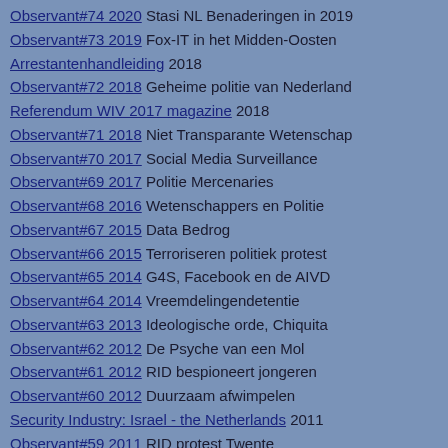Observant#74 2020 Stasi NL Benaderingen in 2019
Observant#73 2019 Fox-IT in het Midden-Oosten
Arrestantenhandleiding 2018
Observant#72 2018 Geheime politie van Nederland
Referendum WIV 2017 magazine 2018
Observant#71 2018 Niet Transparante Wetenschap
Observant#70 2017 Social Media Surveillance
Observant#69 2017 Politie Mercenaries
Observant#68 2016 Wetenschappers en Politie
Observant#67 2015 Data Bedrog
Observant#66 2015 Terroriseren politiek protest
Observant#65 2014 G4S, Facebook en de AIVD
Observant#64 2014 Vreemdelingendetentie
Observant#63 2013 Ideologische orde, Chiquita
Observant#62 2012 De Psyche van een Mol
Observant#61 2012 RID bespioneert jongeren
Observant#60 2012 Duurzaam afwimpelen
Security Industry: Israel - the Netherlands 2011
Observant#59 2011 RID protest Twente